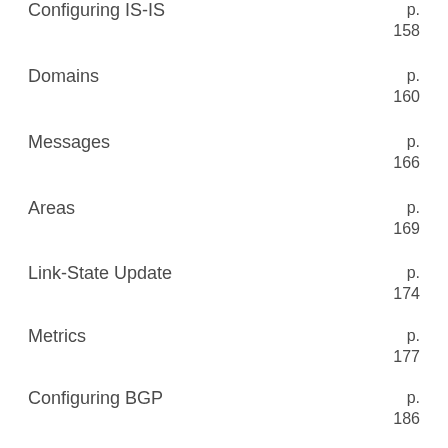Configuring IS-IS  p. 158
Domains  p. 160
Messages  p. 166
Areas  p. 169
Link-State Update  p. 174
Metrics  p. 177
Configuring BGP  p. 186
BGP Support
BGP IP Routing Support  p. 193
ISPs and BGP  p.